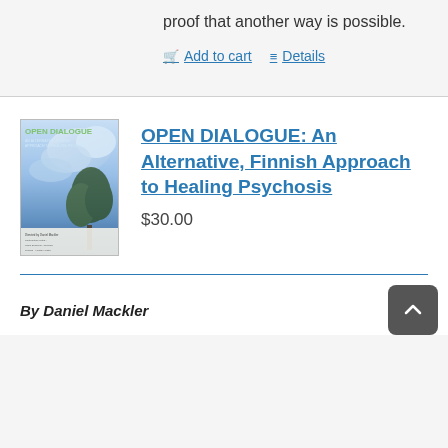proof that another way is possible.
Add to cart  Details
[Figure (photo): Book cover of 'OPEN DIALOGUE: An Alternative, Finnish Approach to Healing Psychosis' showing a stormy sky with a tree]
OPEN DIALOGUE: An Alternative, Finnish Approach to Healing Psychosis
$30.00
By Daniel Mackler